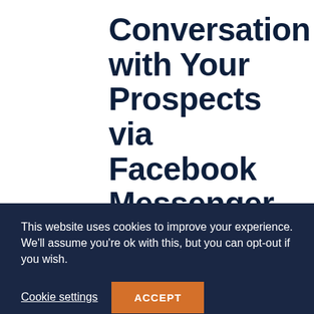Conversation with Your Prospects via Facebook Messenger
Facebook Messenger marketing is a massive opportunity for a lot of businesses.
It's a lot more personal and a lot more
This website uses cookies to improve your experience. We'll assume you're ok with this, but you can opt-out if you wish.
Cookie settings   ACCEPT